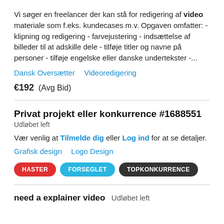Vi søger en freelancer der kan stå for redigering af video materiale som f.eks. kundecases m.v. Opgaven omfatter: - klipning og redigering - farvejustering - indsættelse af billeder til at adskille dele - tilføje titler og navne på personer - tilføje engelske eller danske undertekster -...
Dansk Oversætter   Videoredigering
€192  (Avg Bid)
Privat projekt eller konkurrence #1688551
Udløbet left
Vær venlig at Tilmelde dig eller Log ind for at se detaljer.
Grafisk design   Logo Design
HASTER   FORSEGLET   TOPKONKURRENCE
need a explainer video   Udløbet left